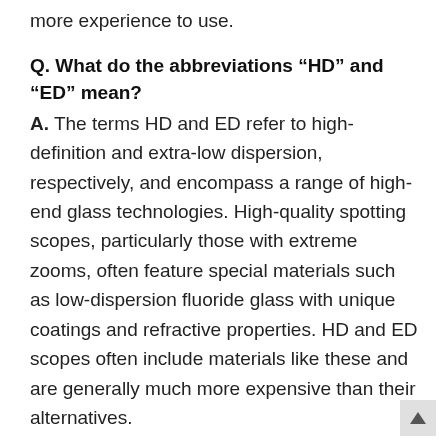more experience to use.
Q. What do the abbreviations “HD” and “ED” mean?
A. The terms HD and ED refer to high-definition and extra-low dispersion, respectively, and encompass a range of high-end glass technologies. High-quality spotting scopes, particularly those with extreme zooms, often feature special materials such as low-dispersion fluoride glass with unique coatings and refractive properties. HD and ED scopes often include materials like these and are generally much more expensive than their alternatives.
Q. What differentiates a refractor scope from a catadioptric scope?
A. Refractor telescopes and spotting scopes are the most common varieties of optical instruments an